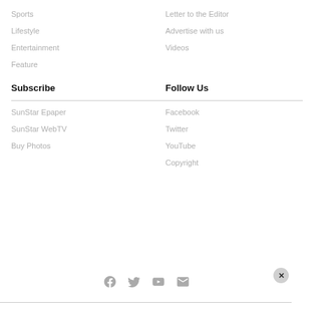Sports
Letter to the Editor
Lifestyle
Advertise with us
Entertainment
Videos
Feature
Subscribe
Follow Us
SunStar Epaper
Facebook
SunStar WebTV
Twitter
Buy Photos
YouTube
Copyright
[Figure (infographic): Social media icons row: Facebook, Twitter, YouTube, Email. Also a close (X) button on the right.]